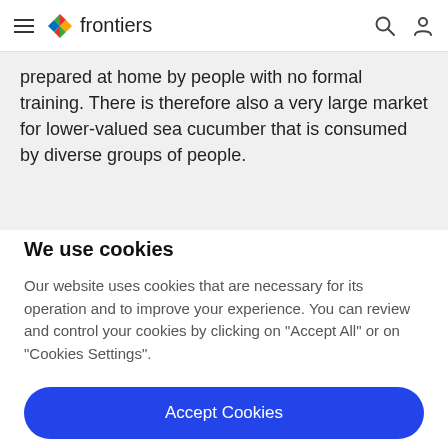frontiers
prepared at home by people with no formal training. There is therefore also a very large market for lower-valued sea cucumber that is consumed by diverse groups of people.
We use cookies
Our website uses cookies that are necessary for its operation and to improve your experience. You can review and control your cookies by clicking on "Accept All" or on "Cookies Settings".
Accept Cookies
Cookies Settings